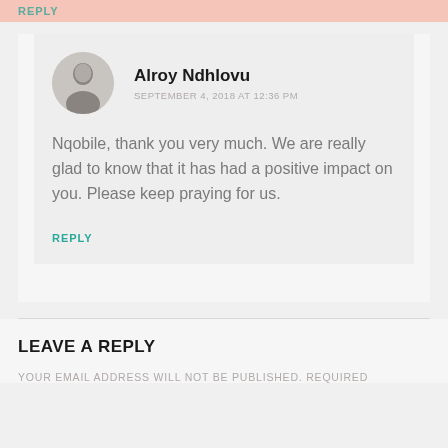REPLY
Alroy Ndhlovu
SEPTEMBER 4, 2018 AT 12:36 PM
Nqobile, thank you very much. We are really glad to know that it has had a positive impact on you. Please keep praying for us.
REPLY
LEAVE A REPLY
YOUR EMAIL ADDRESS WILL NOT BE PUBLISHED. REQUIRED